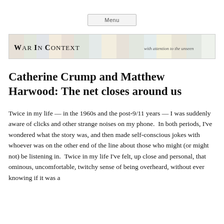Menu
[Figure (logo): War in Context banner with colorful mosaic background. Title reads 'WAR IN CONTEXT' with subtitle 'with attention to the unseen']
Catherine Crump and Matthew Harwood: The net closes around us
Twice in my life — in the 1960s and the post-9/11 years — I was suddenly aware of clicks and other strange noises on my phone.  In both periods, I've wondered what the story was, and then made self-conscious jokes with whoever was on the other end of the line about those who might (or might not) be listening in.  Twice in my life I've felt, up close and personal, that ominous, uncomfortable, twitchy sense of being overheard, without ever knowing if it was a